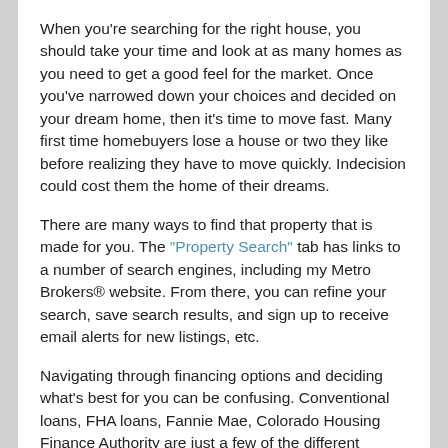When you're searching for the right house, you should take your time and look at as many homes as you need to get a good feel for the market. Once you've narrowed down your choices and decided on your dream home, then it's time to move fast. Many first time homebuyers lose a house or two they like before realizing they have to move quickly. Indecision could cost them the home of their dreams.
There are many ways to find that property that is made for you. The "Property Search" tab has links to a number of search engines, including my Metro Brokers® website. From there, you can refine your search, save search results, and sign up to receive email alerts for new listings, etc.
Navigating through financing options and deciding what's best for you can be confusing. Conventional loans, FHA loans, Fannie Mae, Colorado Housing Finance Authority are just a few of the different avenues to explore. An experienced lender can help you decide what type of loan will best fit your situation.
· · · · ·